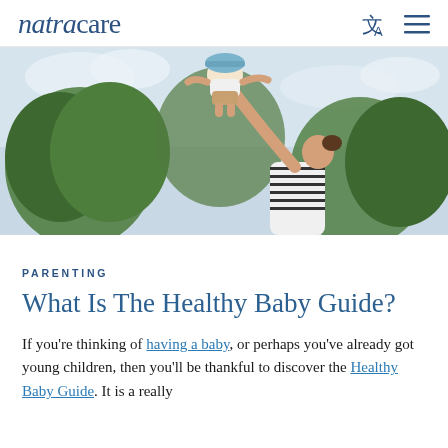natracare
[Figure (photo): A woman lifting a toddler up in the air outdoors, with trees and sky in the background. The toddler is wearing a blue hat and the woman is wearing a striped top.]
PARENTING
What Is The Healthy Baby Guide?
If you're thinking of having a baby, or perhaps you've already got young children, then you'll be thankful to discover the Healthy Baby Guide. It is a really